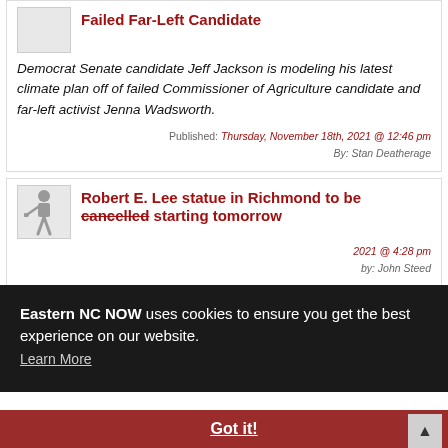Failed Far-Left Candidate
Democrat Senate candidate Jeff Jackson is modeling his latest climate plan off of failed Commissioner of Agriculture candidate and far-left activist Jenna Wadsworth.
Published: Thursday, November 18th, 2021 @ 12:46 pm
By: Stan Deatherage
Robert E. Lee statue in Richmond to be cancelled starting tomorrow
Published: ...2021 @ 4:28 pm  By: John Steed
Eastern NC NOW uses cookies to ensure you get the best experience on our website. Learn More
Got it!
Golden LEAP Board Prioritizes